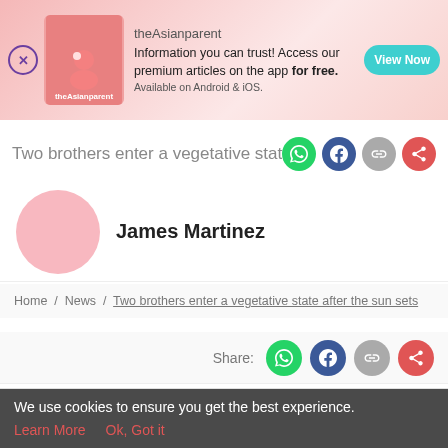[Figure (screenshot): theAsianparent app advertisement banner with app icon, text about premium articles, and View Now button]
Two brothers enter a vegetative state
James Martinez
Home / News / Two brothers enter a vegetative state after the sun sets
Share:
[Figure (screenshot): Bottom navigation bar with Tools, Articles, Home (pregnancy icon), Feed, Poll]
We use cookies to ensure you get the best experience. Learn More  Ok, Got it